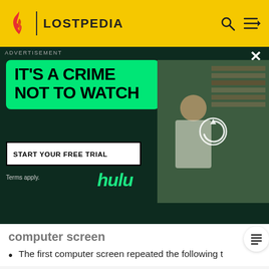LOSTPEDIA
[Figure (screenshot): Hulu advertisement banner: 'IT'S A CRIME NOT TO WATCH' with START YOUR FREE TRIAL button, Terms apply, hulu logo, and photo of person in library]
computer screen
The first computer screen repeated the following t
>:set valve 21B = close
V21B NOT RESPONDING

>:EC22 reset
EC22 RESETTING    RESET COMPLETE